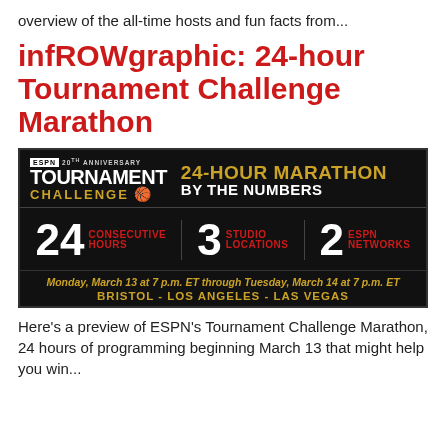overview of the all-time hosts and fun facts from...
infROWgraphic: 24-hour Tournament Challenge Marathon
[Figure (infographic): ESPN 20th Anniversary Tournament Challenge - 24-Hour Marathon By The Numbers infographic. Black background. Stats shown: 24 Consecutive Hours, 3 Studio Locations, 2 ESPN Networks. Date: Monday, March 13 at 7 p.m. ET through Tuesday, March 14 at 7 p.m. ET. Locations: Bristol - Los Angeles - Las Vegas.]
Here's a preview of ESPN's Tournament Challenge Marathon, 24 hours of programming beginning March 13 that might help you win...